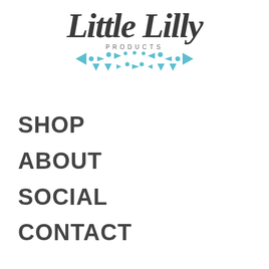[Figure (logo): Little Lilly Products logo — cursive/script text 'Little Lilly' in dark charcoal, with 'PRODUCTS' in small spaced caps below, and a decorative teal/turquoise geometric bunting/triangle garland beneath]
SHOP
ABOUT
SOCIAL
CONTACT
SHIPPING